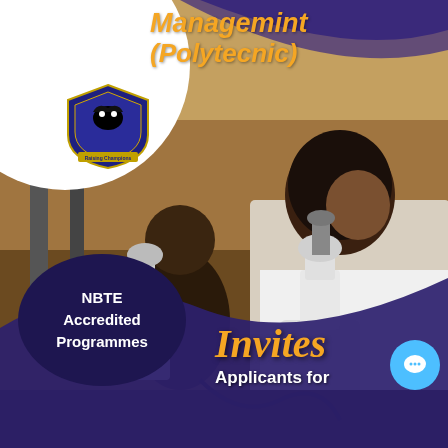[Figure (photo): Laboratory scene with researchers looking through microscopes; woman in white lab coat in foreground using a microscope]
Management (Polytecnic)
[Figure (logo): Institutional shield logo with text 'Raising Champions']
NBTE Accredited Programmes
Invites
Applicants for